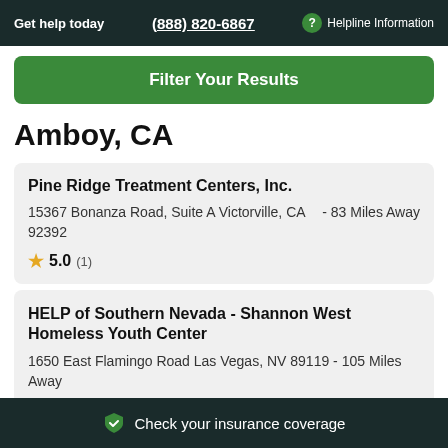Get help today  (888) 820-6867  ? Helpline Information
Filter Your Results
Amboy, CA
Pine Ridge Treatment Centers, Inc.
15367 Bonanza Road, Suite A Victorville, CA 92392 - 83 Miles Away
★ 5.0 (1)
HELP of Southern Nevada - Shannon West Homeless Youth Center
1650 East Flamingo Road Las Vegas, NV 89119 - 105 Miles Away
★ 4.3 (1)
✓ Check your insurance coverage